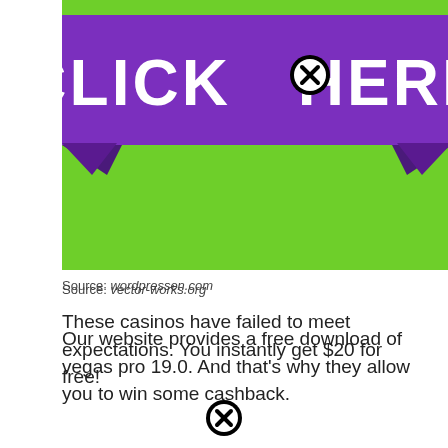[Figure (illustration): Green and purple banner with bold white text 'CLICK HERE' with a circled X icon between the words, on a bright green background with decorative ribbon/banner shape in purple]
Source: vector-works.org
Our website provides a free download of vegas pro 19.0. And that's why they allow you to win some cashback.
Source: wordpressen.com
These casinos have failed to meet expectations. You instantly get $20 for free!
[Figure (illustration): Circled X close/cancel icon]